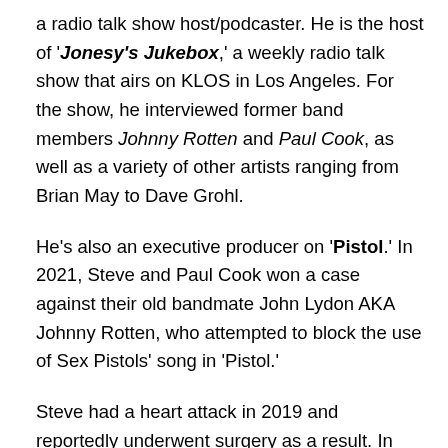a radio talk show host/podcaster. He is the host of 'Jonesy's Jukebox,' a weekly radio talk show that airs on KLOS in Los Angeles. For the show, he interviewed former band members Johnny Rotten and Paul Cook, as well as a variety of other artists ranging from Brian May to Dave Grohl.
He's also an executive producer on 'Pistol.' In 2021, Steve and Paul Cook won a case against their old bandmate John Lydon AKA Johnny Rotten, who attempted to block the use of Sex Pistols' song in 'Pistol.'
Steve had a heart attack in 2019 and reportedly underwent surgery as a result. In 2017, Steve published his memoirs, 'Lonely Boy: Tales from a Sex Pistol.' He reunited with his old Sex Pistols members several times in the 1990s and 2000s, playing shows throughout the decade. He also appears as a guest on various television episodes, including